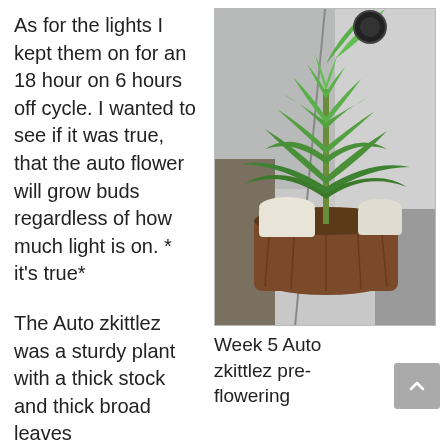As for the lights I kept them on for an 18 hour on 6 hours off cycle. I wanted to see if it was true, that the auto flower will grow buds regardless of how much light is on. * it's true*
[Figure (photo): A cannabis plant (Auto zkittlez) in a brown fabric pot inside a reflective grow tent. The plant has green fan leaves and is at the pre-flowering stage.]
Week 5 Auto zkittlez pre-flowering
The Auto zkittlez was a sturdy plant with a thick stock and thick broad leaves